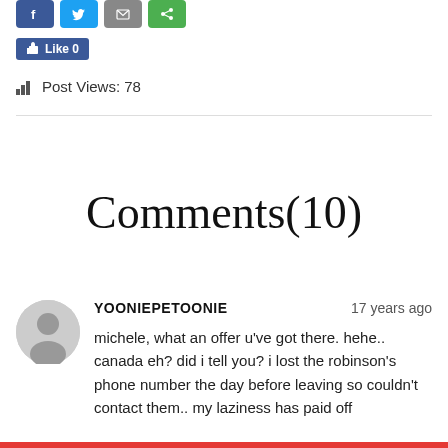[Figure (other): Social share buttons: Facebook, Twitter, Email, Share (green) icons in a row]
[Figure (other): Facebook Like button showing count 0]
Post Views: 78
Comments(10)
YOONIEPETOONIE    17 years ago
michele, what an offer u've got there. hehe.. canada eh? did i tell you? i lost the robinson's phone number the day before leaving so couldn't contact them.. my laziness has paid off